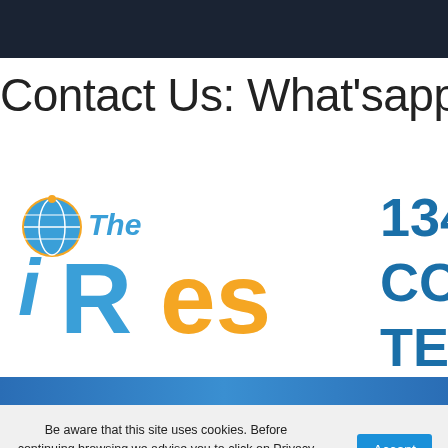Contact Us: What'sapp- +91 7
[Figure (logo): The iRes logo with globe icon, blue 'i' and 'R', orange 'Res' text]
1348 CON TECH
Be aware that this site uses cookies. Before continuing browsing we advise you to click on Privacy Policy to access and read our cookie policy.Ok.